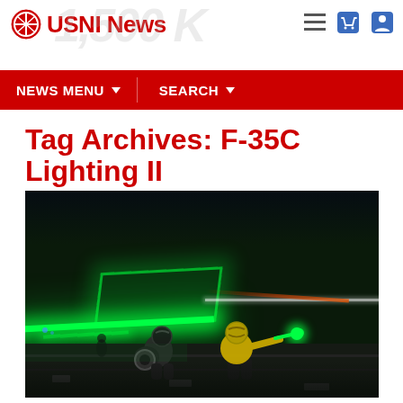USNI News
NEWS MENU   SEARCH
Tag Archives: F-35C Lighting II
[Figure (photo): Night photo of military personnel on aircraft carrier flight deck illuminated by bright green lighting strips, with figures crouching in fluorescent vests]